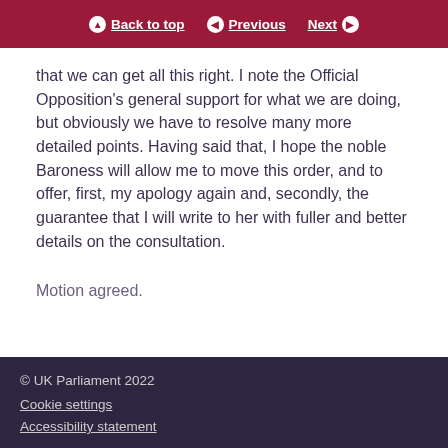Back to top | Previous | Next
that we can get all this right. I note the Official Opposition's general support for what we are doing, but obviously we have to resolve many more detailed points. Having said that, I hope the noble Baroness will allow me to move this order, and to offer, first, my apology again and, secondly, the guarantee that I will write to her with fuller and better details on the consultation.
Motion agreed.
© UK Parliament 2022
Cookie settings
Accessibility statement